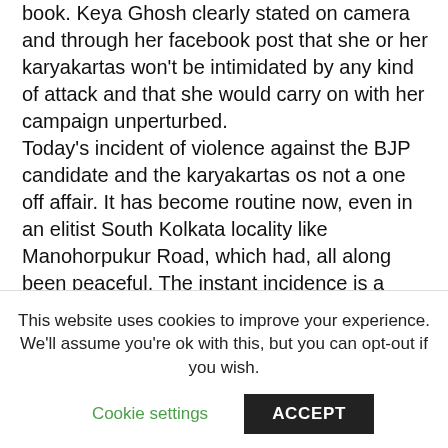book. Keya Ghosh clearly stated on camera and through her facebook post that she or her karyakartas won't be intimidated by any kind of attack and that she would carry on with her campaign unperturbed.
Today's incident of violence against the BJP candidate and the karyakartas os not a one off affair. It has become routine now, even in an elitist South Kolkata locality like Manohorpukur Road, which had, all along been peaceful. The instant incidence is a manifestation of the sorry state of democracy in the state where the opposition voice is mercilessly stifled by means of coercion and infusing fear and also of the fact that one must be ready to accept violence as a
This website uses cookies to improve your experience. We'll assume you're ok with this, but you can opt-out if you wish.
Cookie settings   ACCEPT